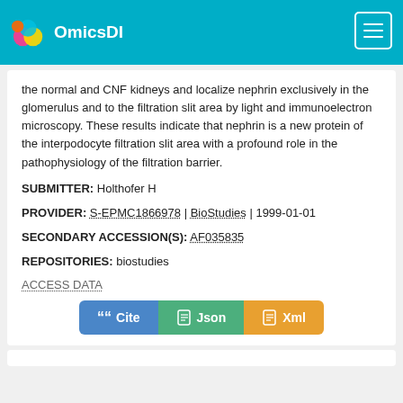OmicsDI
the normal and CNF kidneys and localize nephrin exclusively in the glomerulus and to the filtration slit area by light and immunoelectron microscopy. These results indicate that nephrin is a new protein of the interpodocyte filtration slit area with a profound role in the pathophysiology of the filtration barrier.
SUBMITTER: Holthofer H
PROVIDER: S-EPMC1866978 | BioStudies | 1999-01-01
SECONDARY ACCESSION(S): AF035835
REPOSITORIES: biostudies
ACCESS DATA